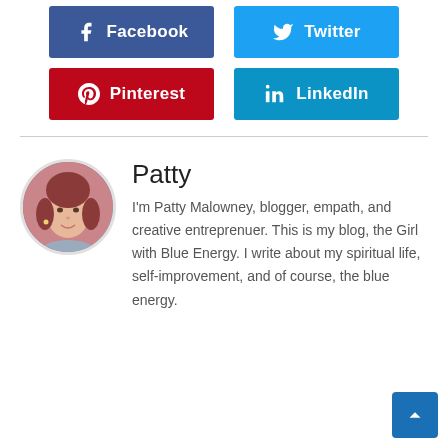[Figure (infographic): Social share buttons: Facebook (dark blue), Twitter (light blue), Pinterest (red), LinkedIn (teal blue)]
Patty
I'm Patty Malowney, blogger, empath, and creative entreprenuer. This is my blog, the Girl with Blue Energy. I write about my spiritual life, self-improvement, and of course, the blue energy.